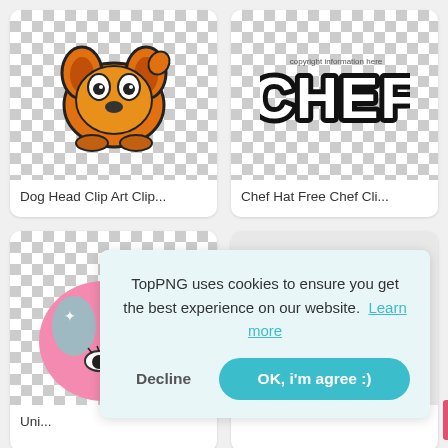[Figure (illustration): Card with cartoon orange dog head clip art on checkered background]
Dog Head Clip Art Clip...
[Figure (illustration): Card with CHEF text logo clip art on checkered background]
Chef Hat Free Chef Cli...
[Figure (illustration): Card with cartoon unicorn head (pink hair, spiral horn) on checkered background]
Uni...
[Figure (illustration): Empty card placeholder on right side]
TopPNG uses cookies to ensure you get the best experience on our website. Learn more
Decline
OK, i'm agree :)